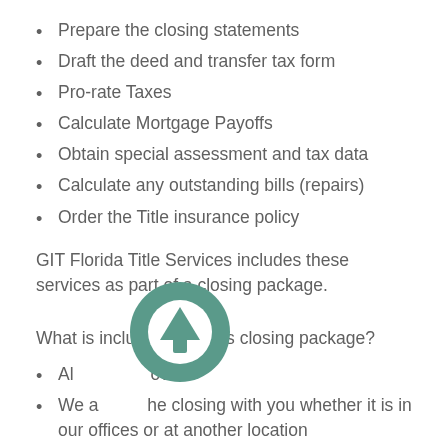Prepare the closing statements
Draft the deed and transfer tax form
Pro-rate Taxes
Calculate Mortgage Payoffs
Obtain special assessment and tax data
Calculate any outstanding bills (repairs)
Order the Title insurance policy
GIT Florida Title Services includes these services as part of a closing package.
What is included in GFT’s closing package?
[Figure (other): Circular green button with an upward-pointing arrow icon overlaid on the page content]
All of the above
We attend the closing with you whether it is in our offices or at another location
We make sure the proper documents are recorded in a timely manner